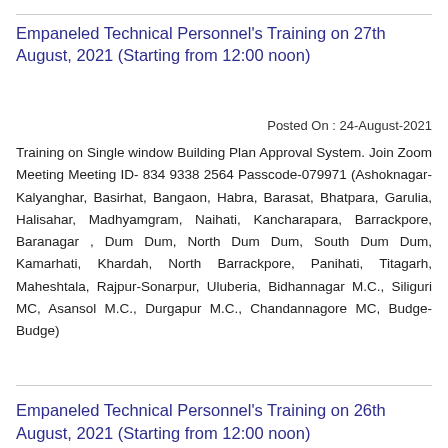Empaneled Technical Personnel's Training on 27th August, 2021 (Starting from 12:00 noon)
Posted On : 24-August-2021
Training on Single window Building Plan Approval System. Join Zoom Meeting Meeting ID- 834 9338 2564 Passcode-079971 (Ashoknagar-Kalyanghar, Basirhat, Bangaon, Habra, Barasat, Bhatpara, Garulia, Halisahar, Madhyamgram, Naihati, Kancharapara, Barrackpore, Baranagar , Dum Dum, North Dum Dum, South Dum Dum, Kamarhati, Khardah, North Barrackpore, Panihati, Titagarh, Maheshtala, Rajpur-Sonarpur, Uluberia, Bidhannagar M.C., Siliguri MC, Asansol M.C., Durgapur M.C., Chandannagore MC, Budge-Budge)
Empaneled Technical Personnel's Training on 26th August, 2021 (Starting from 12:00 noon)